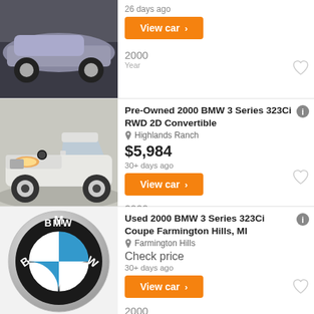[Figure (photo): Top partial car listing showing a dark sedan, partially visible]
26 days ago
View car >
2000
Year
[Figure (photo): Silver BMW 3 Series convertible on a showroom turntable]
Pre-Owned 2000 BMW 3 Series 323Ci RWD 2D Convertible
Highlands Ranch
$5,984
30+ days ago
View car >
2000
Year
[Figure (logo): BMW circular logo with black outer ring and blue/white quadrant symbol]
Used 2000 BMW 3 Series 323Ci Coupe Farmington Hills, MI
Farmington Hills
Check price
30+ days ago
View car >
2000
Year